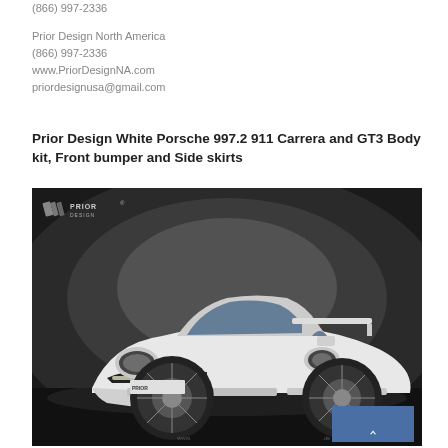(866) 997-2336
Prior Design North America
(866) 997-2336
www.PriorDesignNA.com
priordesignusa@gmail.com
Prior Design White Porsche 997.2 911 Carrera and GT3 Body kit, Front bumper and Side skirts
[Figure (photo): White Porsche 997.2 911 with Prior Design GT3 body kit, front bumper and side skirts, shown against a dark grey studio background with Prior Design logo in upper left corner]